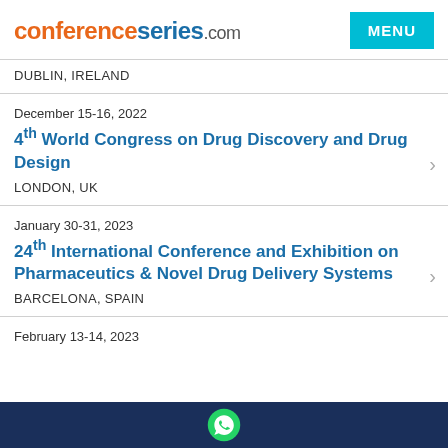conferenceseries.com
DUBLIN, IRELAND
December 15-16, 2022
4th World Congress on Drug Discovery and Drug Design
LONDON, UK
January 30-31, 2023
24th International Conference and Exhibition on Pharmaceutics & Novel Drug Delivery Systems
BARCELONA, SPAIN
February 13-14, 2023